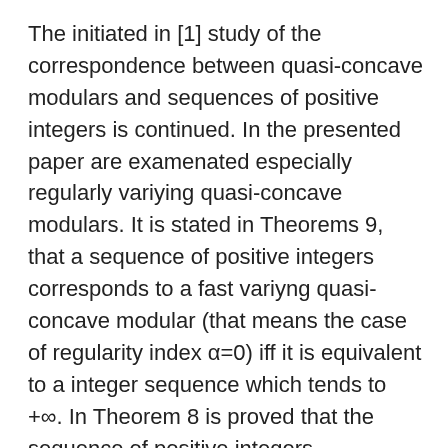The initiated in [1] study of the correspondence between quasi-concave modulars and sequences of positive integers is continued. In the presented paper are examenated especially regularly variying quasi-concave modulars. It is stated in Theorems 9, that a sequence of positive integers corresponds to a fast variyng quasi-concave modular (that means the case of regularity index α=0) iff it is equivalent to a integer sequence which tends to +∞. In Theorem 8 is proved that the sequence of positive integers corresponds to a slow variyng modular (the case of regularity index α=1) iff it is equivalent to a sequence of the form 211•••1211•••121••• •••••• where the lengths of blocks of units tends to +∞. In Theorem 5 the case of intermediate value of regularity index α, 0<α<1 is investigated.